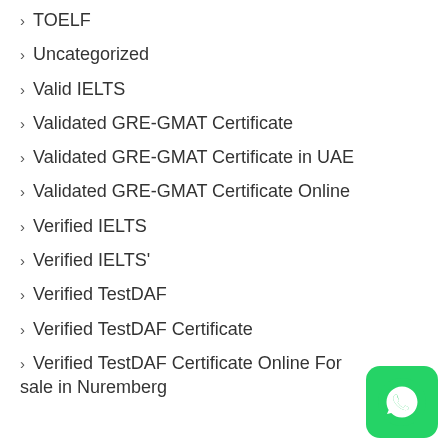TOELF
Uncategorized
Valid IELTS
Validated GRE-GMAT Certificate
Validated GRE-GMAT Certificate in UAE
Validated GRE-GMAT Certificate Online
Verified IELTS
Verified IELTS'
Verified TestDAF
Verified TestDAF Certificate
Verified TestDAF Certificate Online For sale in Nuremberg
[Figure (logo): WhatsApp icon, green rounded square with white phone handset logo]